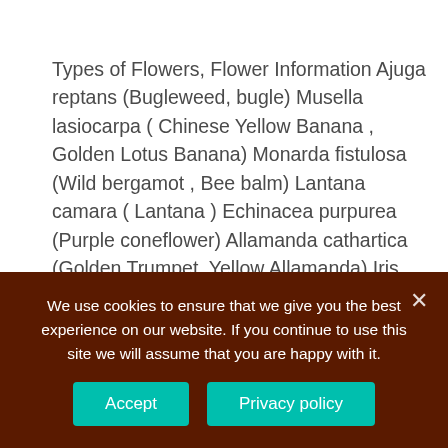Types of Flowers, Flower Information Ajuga reptans (Bugleweed, bugle) Musella lasiocarpa ( Chinese Yellow Banana , Golden Lotus Banana) Monarda fistulosa (Wild bergamot , Bee balm) Lantana camara ( Lantana ) Echinacea purpurea (Purple coneflower) Allamanda cathartica (Golden Trumpet, Yellow Allamanda) Iris japonica (Fringed iris, Crested iris)
What are good flower names for a girl?
We use cookies to ensure that we give you the best experience on our website. If you continue to use this site we will assume that you are happy with it.